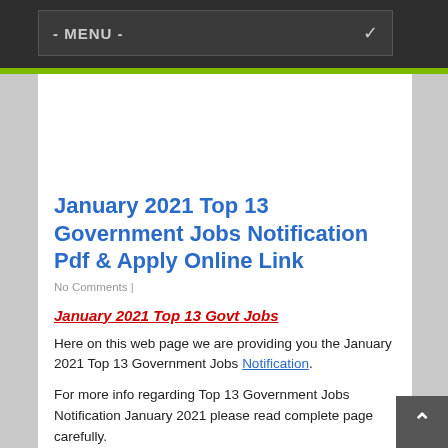- MENU -
January 2021 Top 13 Government Jobs Notification Pdf & Apply Online Link
No Comments |
January 2021 Top 13 Govt Jobs
Here on this web page we are providing you the January 2021 Top 13 Government Jobs Notification.
For more info regarding Top 13 Government Jobs Notification January 2021 please read complete page carefully.